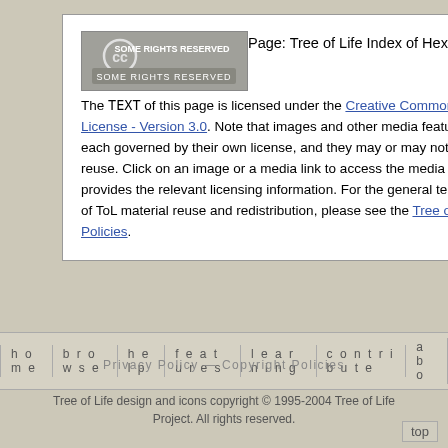[Figure (logo): Creative Commons 'Some Rights Reserved' badge logo in grayscale]
Page: Tree of Life Index of Hexapod Orders The TEXT of this page is licensed under the Creative Commons Attribution License - Version 3.0. Note that images and other media featured on this page are each governed by their own license, and they may or may not be available for reuse. Click on an image or a media link to access the media data window, which provides the relevant licensing information. For the general terms and conditions of ToL material reuse and redistribution, please see the Tree of Life Copyright Policies.
home   browse   help   features   learning   contribute   abo
Privacy Policy — Copyright Policies
Tree of Life design and icons copyright © 1995-2004 Tree of Life Project. All rights reserved.
top